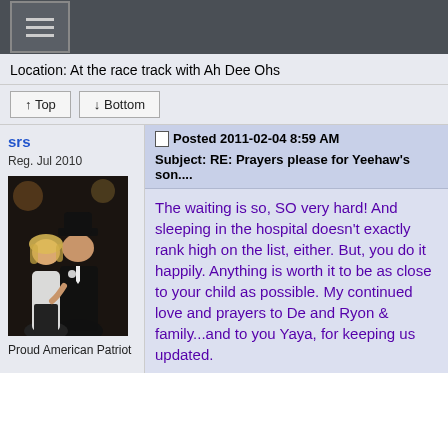Location: At the race track with Ah Dee Ohs
↑ Top   ↓ Bottom
srs
Reg. Jul 2010
Posted 2011-02-04 8:59 AM
Subject: RE: Prayers please for Yeehaw's son....
[Figure (photo): A couple posing together at what appears to be a formal event. A woman with blonde hair in a white top and a man in a black suit and hat.]
Proud American Patriot
The waiting is so, SO very hard!  And sleeping in the hospital doesn't exactly rank high on the list, either.  But, you do it happily.  Anything is worth it to be as close to your child as possible.  My continued love and prayers to De and Ryon & family...and to you Yaya, for keeping us updated.